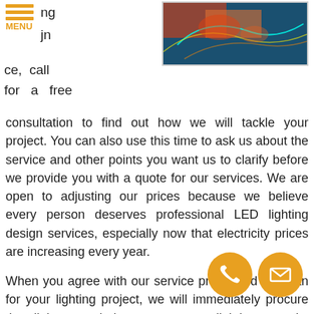[Figure (screenshot): Website navigation menu with orange hamburger lines and MENU label on top left, partial text 'ng' and 'jn' visible beside it]
[Figure (photo): Top right image showing colorful LED lighting design visualization with orange, teal and blue colors]
ce, call for a free consultation to find out how we will tackle your project. You can also use this time to ask us about the service and other points you want us to clarify before we provide you with a quote for our services. We are open to adjusting our prices because we believe every person deserves professional LED lighting design services, especially now that electricity prices are increasing every year.
When you agree with our service prices and our plan for your lighting project, we will immediately procure the lights needed, prepare any lighting permits necessary, sort out your electricity lines and get everything installed and maintained. We can also repair or replace them if something goes wrong. You can trust us to make everything stress-free, and aside from our Highland City LED lighting service, you can also ask us an er lighting design services for your commercial